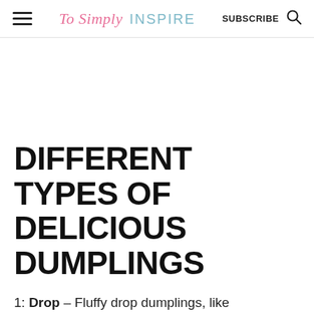To Simply INSPIRE  SUBSCRIBE
DIFFERENT TYPES OF DELICIOUS DUMPLINGS
1: Drop – Fluffy drop dumplings, like the ones made in this recipe, are a